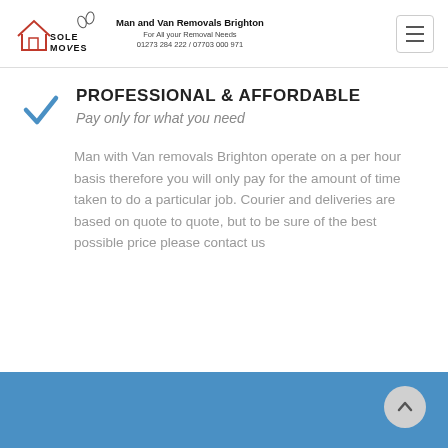Man and Van Removals Brighton | For All your Removal Needs | 01273 284 222 / 07703 000 971
PROFESSIONAL & AFFORDABLE
Pay only for what you need
Man with Van removals Brighton operate on a per hour basis therefore you will only pay for the amount of time taken to do a particular job. Courier and deliveries are based on quote to quote, but to be sure of the best possible price please contact us